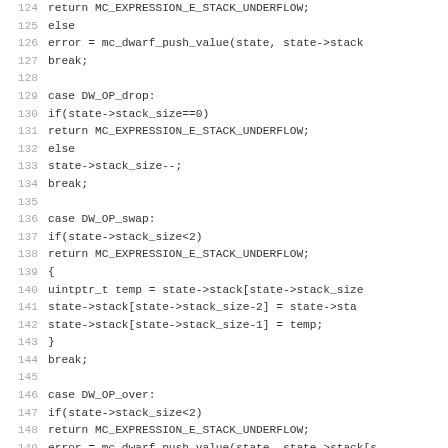[Figure (screenshot): Source code listing in monospace font showing C code for a DWARF expression evaluator, lines 124-156, with cases for DW_OP_drop, DW_OP_swap, DW_OP_over, and DW_OP_plus operations.]